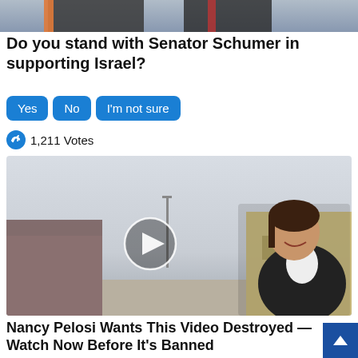[Figure (photo): Top portion of a photo showing two people in suits]
Do you stand with Senator Schumer in supporting Israel?
Yes | No | I'm not sure (vote buttons)
1,211 Votes
[Figure (photo): Video thumbnail showing a woman smiling outdoors near an industrial building, with a play button overlay]
Nancy Pelosi Wants This Video Destroyed — Watch Now Before It's Banned